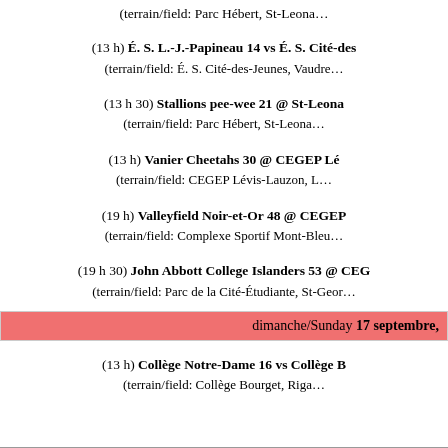(terrain/field: Parc Hébert, St-Leona…
(13 h) É. S. L.-J.-Papineau 14 vs É. S. Cité-des… (terrain/field: É. S. Cité-des-Jeunes, Vaudre…
(13 h 30) Stallions pee-wee 21 @ St-Leona… (terrain/field: Parc Hébert, St-Leona…
(13 h) Vanier Cheetahs 30 @ CEGEP Lé… (terrain/field: CEGEP Lévis-Lauzon, L…
(19 h) Valleyfield Noir-et-Or 48 @ CEGEP… (terrain/field: Complexe Sportif Mont-Bleu…
(19 h 30) John Abbott College Islanders 53 @ CEG… (terrain/field: Parc de la Cité-Étudiante, St-Geor…
dimanche/Sunday 17 septembre,
(13 h) Collège Notre-Dame 16 vs Collège B… (terrain/field: Collège Bourget, Riga…